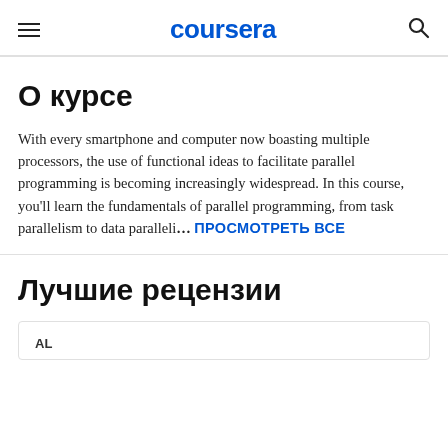coursera
О курсе
With every smartphone and computer now boasting multiple processors, the use of functional ideas to facilitate parallel programming is becoming increasingly widespread. In this course, you'll learn the fundamentals of parallel programming, from task parallelism to data paralleli… ПРОСМОТРЕТЬ ВСЕ
Лучшие рецензии
AL